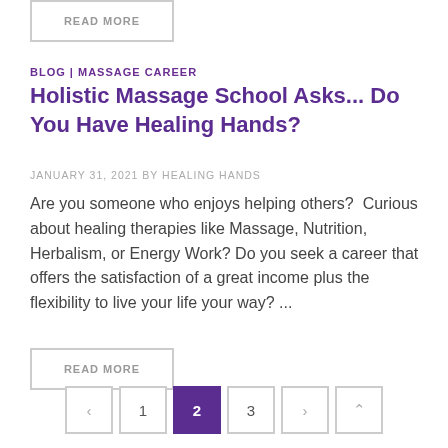READ MORE
BLOG | MASSAGE CAREER
Holistic Massage School Asks... Do You Have Healing Hands?
JANUARY 31, 2021 BY HEALING HANDS
Are you someone who enjoys helping others?  Curious about healing therapies like Massage, Nutrition, Herbalism, or Energy Work? Do you seek a career that offers the satisfaction of a great income plus the flexibility to live your life your way? ...
READ MORE
< 1 2 3 > ^